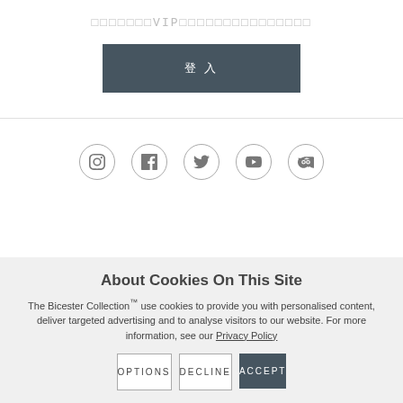□□□□□□□VIP□□□□□□□□□□□□□□□
登 入
[Figure (other): Social media icons row: Instagram, Facebook, Twitter, YouTube, TripAdvisor]
About Cookies On This Site
The Bicester Collection™ use cookies to provide you with personalised content, deliver targeted advertising and to analyse visitors to our website. For more information, see our Privacy Policy
OPTIONS
DECLINE
ACCEPT